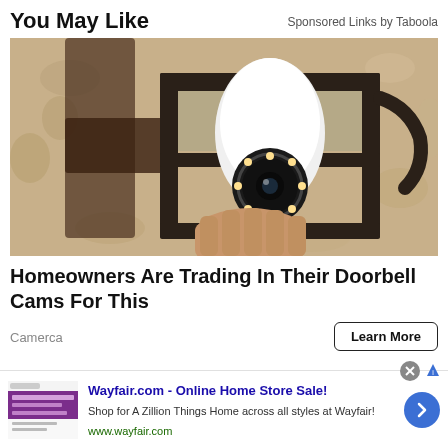You May Like
Sponsored Links by Taboola
[Figure (photo): A hand installing a light bulb security camera into an outdoor wall-mounted lantern fixture on a beige stucco wall]
Homeowners Are Trading In Their Doorbell Cams For This
Camerca
Learn More
[Figure (screenshot): Wayfair.com online store advertisement thumbnail showing a purple banner]
Wayfair.com - Online Home Store Sale!
Shop for A Zillion Things Home across all styles at Wayfair!
www.wayfair.com